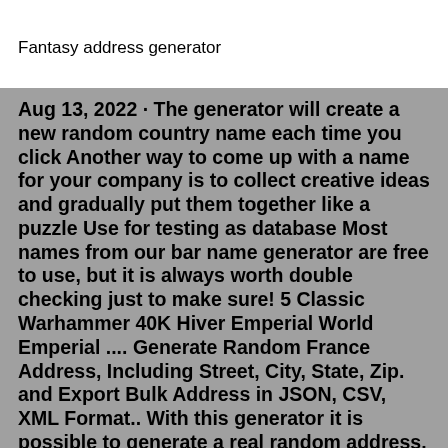Fantasy address generator
Aug 13, 2022 · The generator will create a new random country name each time you click Another way to come up with a name for your company is to collect creative ideas and gradually put them together like a puzzle Use for testing as database Most names from our bar name generator are free to use, but it is always worth double checking just to make sure! 5 Classic Warhammer 40K Hiver Emperial World Emperial .... Generate Random France Address, Including Street, City, State, Zip. and Export Bulk Address in JSON, CSV, XML Format.. With this generator it is possible to generate a real random address. The user just clicks on the generate button and the address will be generated. The Address then can be copied to the clipboard with the corresponding copy button. Elven locations names, whether it's a forest, a city, or an ancient sacred ground are usually